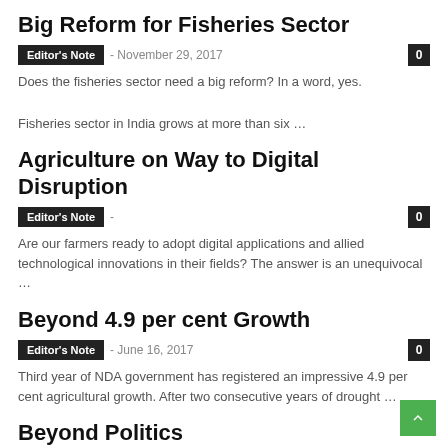Big Reform for Fisheries Sector
Editor's Note  - November 29, 2017  0
Does the fisheries sector need a big reform? In a word, yes.
Fisheries sector in India grows at more than six …
Agriculture on Way to Digital Disruption
Editor's Note  -  0
Are our farmers ready to adopt digital applications and allied technological innovations in their fields? The answer is an unequivocal …
Beyond 4.9 per cent Growth
Editor's Note  - June 16, 2017  0
Third year of NDA government has registered an impressive 4.9 per cent agricultural growth. After two consecutive years of drought …
Beyond Politics